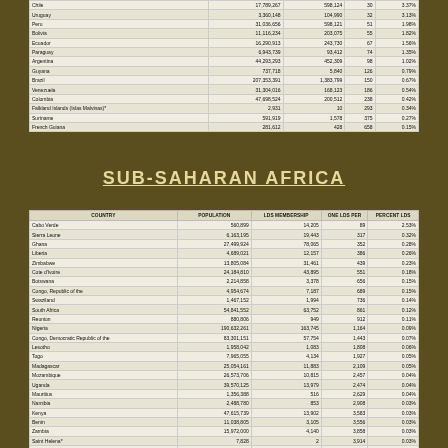| COUNTRY | POPULATION | LDS MEMBERSHIP | ONE LDS PER | PERCENT LDS |
| --- | --- | --- | --- | --- |
| Chile | 17,789,267 | 598,124 | 30 | 3.37% |
| Uruguay | 3,360,148 | 104,990 | 32 | 3.13% |
| Peru | 31,036,656 | 598,121 | 51 | 1.98% |
| Bolivia | 11,116,234 | 203,075 | 55 | 1.82% |
| Ecuador | 16,290,913 | 243,730 | 67 | 1.56% |
| Paraguay | 6,943,739 | 93,412 | 74 | 1.35% |
| Argentina | 44,293,293 | 452,309 | 98 | 1.02% |
| Guyana | 737,718 | 5,840 | 126 | 0.79% |
| Brazil | 207,353,391 | 1,383,799 | 150 | 0.67% |
| Venezuela | 31,304,016 | 168,123 | 186 | 0.54% |
| Colombia | 47,698,524 | 200,512 | 238 | 0.42% |
| Falkland Islands (Islas Malvinas)* | 2,931 | 10 | 293 | 0.34% |
| Suriname | 591,919 | 1,578 | 375 | 0.27% |
| French Guiana | 281,612 | 428 | 658 | 0.15% |
SUB-SAHARAN AFRICA
| COUNTRY | POPULATION | LDS MEMBERSHIP | ONE LDS PER | PERCENT LDS |
| --- | --- | --- | --- | --- |
| Cabo Verde | 560,899 | 14,205 | 89 | 2.53% |
| Sierra Leone | 6,163,195 | 19,443 | 317 | 0.32% |
| Ghana | 27,499,924 | 78,065 | 352 | 0.28% |
| Liberia | 4,689,021 | 12,157 | 386 | 0.26% |
| Zimbabwe | 13,805,084 | 31,461 | 439 | 0.23% |
| Cote d'Ivoire | 24,184,810 | 43,895 | 551 | 0.18% |
| Botswana | 2,214,858 | 3,378 | 656 | 0.15% |
| Congo, Republic of the | 4,954,674 | 7,187 | 689 | 0.15% |
| Swaziland | 1,467,152 | 1,994 | 736 | 0.14% |
| South Africa | 54,841,552 | 63,752 | 861 | 0.12% |
| Reunion | 880,806 | 949 | 912 | 0.11% |
| Nigeria | 190,632,261 | 163,745 | 1,164 | 0.09% |
| Congo, Democratic Republic of the | 83,301,151 | 57,754 | 1,443 | 0.07% |
| Lesotho | 1,958,042 | 1,083 | 1,808 | 0.06% |
| Togo | 7,965,055 | 4,134 | 1,927 | 0.05% |
| Madagascar | 25,054,161 | 11,883 | 2,109 | 0.05% |
| Mozambique | 26,573,706 | 10,815 | 2,457 | 0.04% |
| Uganda | 39,570,125 | 13,979 | 2,474 | 0.04% |
| Mauritius | 1,356,388 | 516 | 2,629 | 0.04% |
| Namibia | 2,488,780 | 853 | 2,908 | 0.03% |
| Kenya | 47,615,739 | 13,902 | 3,583 | 0.03% |
| Benin | 11,038,805 | 3,105 | 3,556 | 0.03% |
| Zambia | 15,972,000 | 4,140 | 3,858 | 0.03% |
| Saint Helena* | 7,828 | 2 | 3,914 | 0.03% |
| Malawi | 19,196,246 | 2,745 | 6,993 | 0.01% |